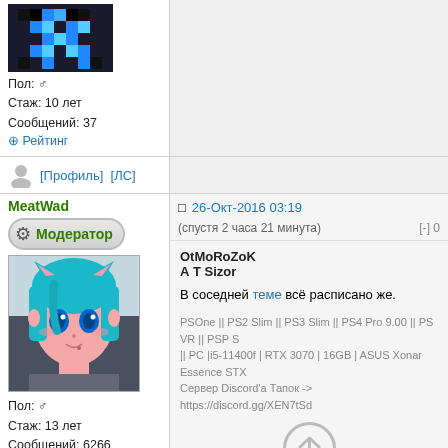[Figure (illustration): Pixel art avatar with blue X shape on dark background]
Пол: ♂
Стаж: 10 лет
Сообщений: 37
⊕ Рейтинг
[Профиль]  [ЛС]
MeatWad
Модератор
[Figure (illustration): Anime girl avatar with blue hair and blue eyes]
Пол: ♂
Стаж: 13 лет
Сообщений: 6266
[Figure (illustration): Russian flag]
⊕ Рейтинг
26-Окт-2016 03:19  (спустя 2 часа 21 минута)  [-] 0
OtMoRoZoK
А Т Sizor
В соседней теме всё расписано же.
PSOne || PS2 Slim || PS3 Slim || PS4 Pro 9.00 || PS VR || PSP S
|| PC |i5-11400f | RTX 3070 | 16GB | ASUS Xonar Essence STX
Сервер Discord'а Тапок -> https://discord.gg/XEN7tSd
[Figure (illustration): Scroll up / back to top circular arrow icon]
[Профиль]  [ЛС]